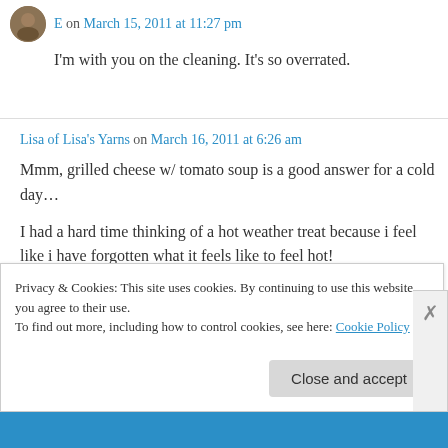E on March 15, 2011 at 11:27 pm
I'm with you on the cleaning. It's so overrated.
Lisa of Lisa's Yarns on March 16, 2011 at 6:26 am
Mmm, grilled cheese w/ tomato soup is a good answer for a cold day…

I had a hard time thinking of a hot weather treat because i feel like i have forgotten what it feels like to feel hot!
Privacy & Cookies: This site uses cookies. By continuing to use this website, you agree to their use.
To find out more, including how to control cookies, see here: Cookie Policy